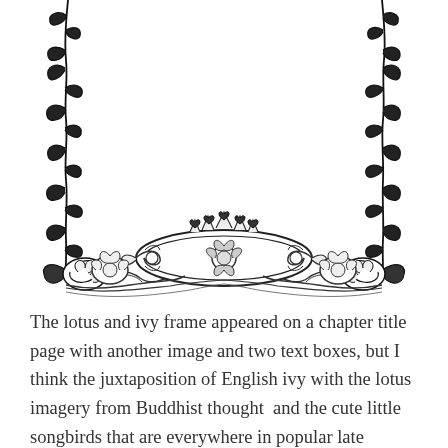[Figure (illustration): A decorative lotus and ivy border/frame illustration in black and white. The frame shows ivy vines climbing up the left and right vertical sides, with elaborate lotus and floral ornamental decorations along the bottom edge forming a partial U-shape frame. The top is open. The bottom center features an ornate horizontal decorative band with lotus flowers and scrollwork.]
The lotus and ivy frame appeared on a chapter title page with another image and two text boxes, but I think the juxtaposition of English ivy with the lotus imagery from Buddhist thought  and the cute little songbirds that are everywhere in popular late Victorian and turn of the century drawings is so